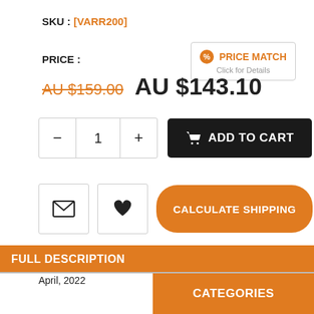SKU : [VARR200]
PRICE :
[Figure (other): Price Match badge with orange tag icon and text 'PRICE MATCH Click for Details']
AU $159.00  AU $143.10
[Figure (other): Quantity selector with minus, 1, plus buttons and black Add to Cart button with cart icon]
[Figure (other): Email icon button, heart/wishlist icon button, and orange Calculate Shipping button]
This product was updated in our catalog on Friday 15 April, 2022
FULL DESCRIPTION
CATEGORIES